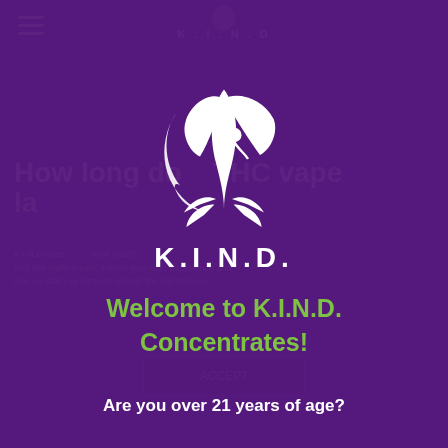[Figure (screenshot): K.I.N.D. Concentrates website age verification modal overlay on a purple background. Features the K.I.N.D. logo (white cannabis leaf with person figure), the brand name K.I.N.D., welcome text in green, and an age verification question in white.]
K.I.N.D.
Welcome to K.I.N.D. Concentrates!
Are you over 21 years of age?